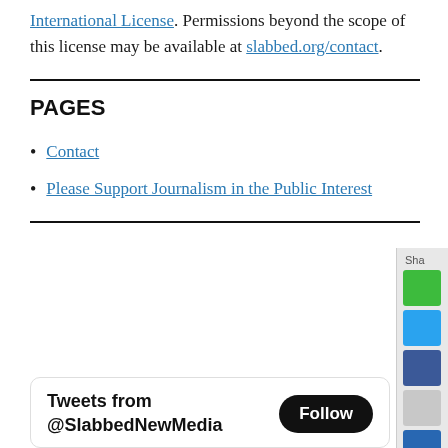International License. Permissions beyond the scope of this license may be available at slabbed.org/contact.
PAGES
Contact
Please Support Journalism in the Public Interest
Tweets from @SlabbedNewMedia  Follow